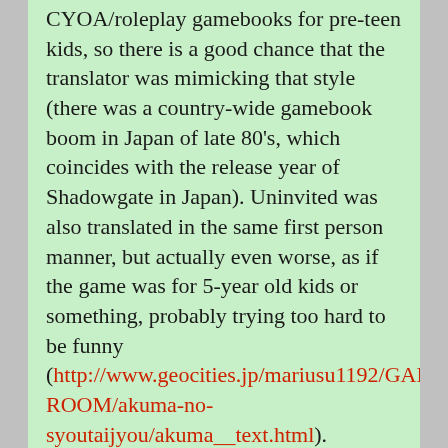CYOA/roleplay gamebooks for pre-teen kids, so there is a good chance that the translator was mimicking that style (there was a country-wide gamebook boom in Japan of late 80's, which coincides with the release year of Shadowgate in Japan). Uninvited was also translated in the same first person manner, but actually even worse, as if the game was for 5-year old kids or something, probably trying too hard to be funny (http://www.geocities.jp/mariusu1192/GAME-ROOM/akuma-no-syoutaijyou/akuma_text.html).
2. The Japanese gaming audience (especially the Famicom audience) was unaccustomed to adventure games with many ways to die, ever since the release of The Portopia Serial Murder Case.
3. Shadowgate wasn't that infamous at the time of release. In fact, the reception was mediocre until the internet era and the Kusoge (crappy games) boom comes. Famitsu's 1991 all game catalog gave this